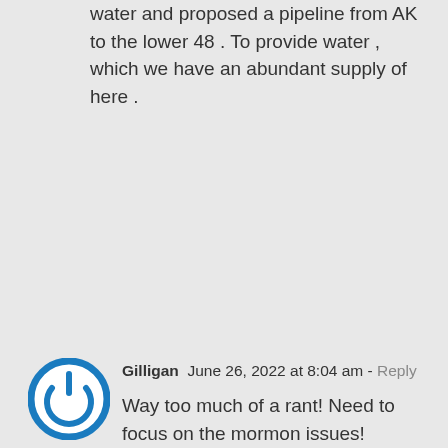water and proposed a pipeline from AK to the lower 48 . To provide water , which we have an abundant supply of here .
Gilligan  June 26, 2022 at 8:04 am - Reply
[Figure (illustration): Blue circular power button icon avatar]
Way too much of a rant! Need to focus on the mormon issues!
John Larsen needs to spend more time doing research and providing insights into mormonism. Like he did on Mormon Expressions. Too often lately his podcasts have just become his time to expound on his political views. If I want politics I can watch